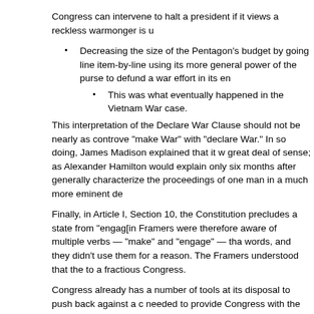Congress can intervene to halt a president if it views a reckless warmonger is u
Decreasing the size of the Pentagon’s budget by going line item-by-line using its more general power of the purse to defund a war effort in its en
This was what eventually happened in the Vietnam War case.
This interpretation of the Declare War Clause should not be nearly as controve “make War” with “declare War.” In so doing, James Madison explained that it w great deal of sense; as Alexander Hamilton would explain only six months after generally characterize the proceedings of one man in a much more eminent de
Finally, in Article I, Section 10, the Constitution precludes a state from “engag[in Framers were therefore aware of multiple verbs — “make” and “engage” — tha words, and they didn’t use them for a reason. The Framers understood that the to a fractious Congress.
Congress already has a number of tools at its disposal to push back against a c needed to provide Congress with the power to frustrate unauthorized president funds for military action.” But the Declare War Clause means something fundar
No president, to date, has abided by the war powers act!  Grenada, Lebanon, P the fact of military action.  President Obama in 2016 wrote: “I am providing this Powers Resolution (Public Law 93-148), as part of my efforts to keep the Con with” has been used by multiple presidents.  They were saying that their notifica a legal challenge to the requirements for notification of Congress for fear of the